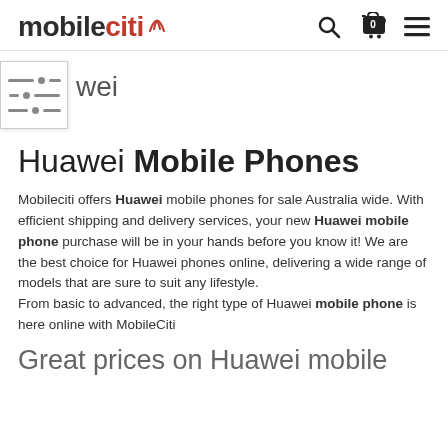mobileciti
[Figure (other): Filter/sliders icon box]
huawei
Huawei Mobile Phones
Mobileciti offers Huawei mobile phones for sale Australia wide. With efficient shipping and delivery services, your new Huawei mobile phone purchase will be in your hands before you know it! We are the best choice for Huawei phones online, delivering a wide range of models that are sure to suit any lifestyle.
From basic to advanced, the right type of Huawei mobile phone is here online with MobileCiti
Great prices on Huawei mobile phones